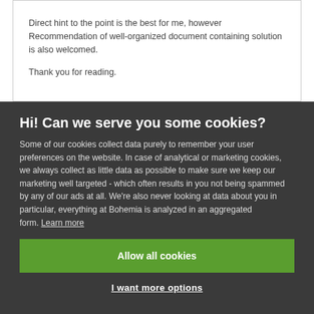Direct hint to the point is the best for me, however Recommendation of well-organized document containing solution is also welcomed.
Thank you for reading.
Hi! Can we serve you some cookies?
Some of our cookies collect data purely to remember your user preferences on the website. In case of analytical or marketing cookies, we always collect as little data as possible to make sure we keep our marketing well targeted - which often results in you not being spammed by any of our ads at all. We're also never looking at data about you in particular, everything at Bohemia is analyzed in an aggregated form. Learn more
Allow all cookies
I want more options